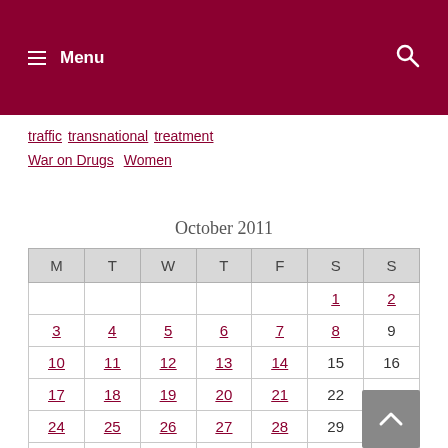Menu (search icon)
traffic  transnational  treatment
War on Drugs  Women
October 2011
| M | T | W | T | F | S | S |
| --- | --- | --- | --- | --- | --- | --- |
|  |  |  |  |  | 1 | 2 |
| 3 | 4 | 5 | 6 | 7 | 8 | 9 |
| 10 | 11 | 12 | 13 | 14 | 15 | 16 |
| 17 | 18 | 19 | 20 | 21 | 22 | 23 |
| 24 | 25 | 26 | 27 | 28 | 29 | 30 |
| 31 |  |  |  |  |  |  |